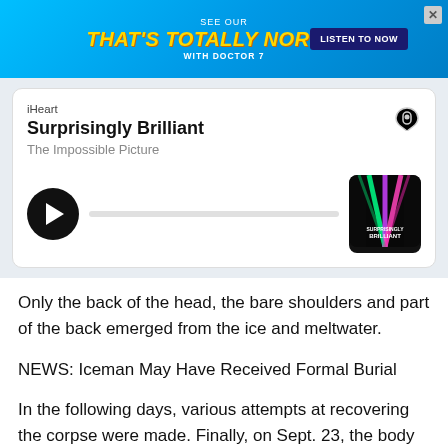[Figure (screenshot): Advertisement banner for 'That's Totally Normal! with Doctor 7' podcast. Blue gradient background with yellow italic bold text and a dark blue 'LISTEN TO NOW' button.]
[Figure (screenshot): iHeart podcast player card for 'Surprisingly Brilliant' — episode 'The Impossible Picture'. Shows play button, progress bar, and podcast artwork thumbnail.]
Only the back of the head, the bare shoulders and part of the back emerged from the ice and meltwater.
NEWS: Iceman May Have Received Formal Burial
In the following days, various attempts at recovering the corpse were made. Finally, on Sept. 23, the body was extracted from the ice along with numerous pieces of